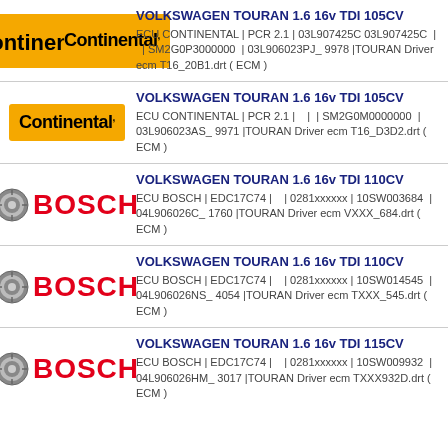VOLKSWAGEN TOURAN 1.6 16v TDI 105CV ECU CONTINENTAL | PCR 2.1 | 03L907425C 03L907425C | | SM2G0P3000000 | 03L906023PJ_ 9978 |TOURAN Driver ecm T16_20B1.drt ( ECM )
VOLKSWAGEN TOURAN 1.6 16v TDI 105CV ECU CONTINENTAL | PCR 2.1 | | | SM2G0M0000000 | 03L906023AS_ 9971 |TOURAN Driver ecm T16_D3D2.drt ( ECM )
VOLKSWAGEN TOURAN 1.6 16v TDI 110CV ECU BOSCH | EDC17C74 | | 0281xxxxxx | 10SW003684 | 04L906026C_ 1760 |TOURAN Driver ecm VXXX_684.drt ( ECM )
VOLKSWAGEN TOURAN 1.6 16v TDI 110CV ECU BOSCH | EDC17C74 | | 0281xxxxxx | 10SW014545 | 04L906026NS_ 4054 |TOURAN Driver ecm TXXX_545.drt ( ECM )
VOLKSWAGEN TOURAN 1.6 16v TDI 115CV ECU BOSCH | EDC17C74 | | 0281xxxxxx | 10SW009932 | 04L906026HM_ 3017 |TOURAN Driver ecm TXXX932D.drt ( ECM )